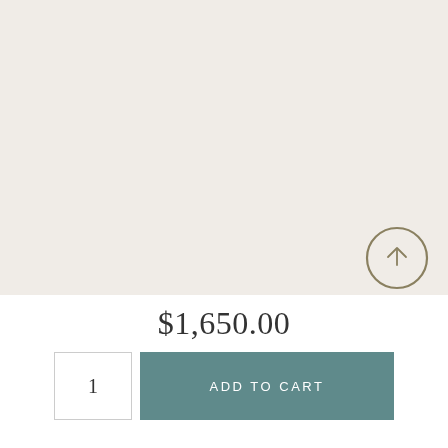[Figure (photo): Large light beige/cream colored product image area with a circular arrow-up scroll button in the lower right corner]
$1,650.00
1
ADD TO CART